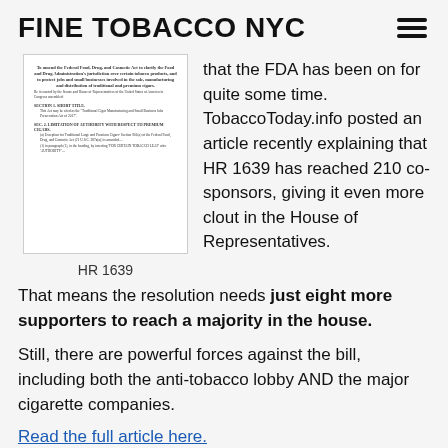FINE TOBACCO NYC
[Figure (screenshot): Screenshot of HR 1639 legislative document text with sections and legal language]
HR 1639
that the FDA has been on for quite some time. TobaccoToday.info posted an article recently explaining that HR 1639 has reached 210 co-sponsors, giving it even more clout in the House of Representatives. That means the resolution needs just eight more supporters to reach a majority in the house.
Still, there are powerful forces against the bill, including both the anti-tobacco lobby AND the major cigarette companies.
Read the full article here.